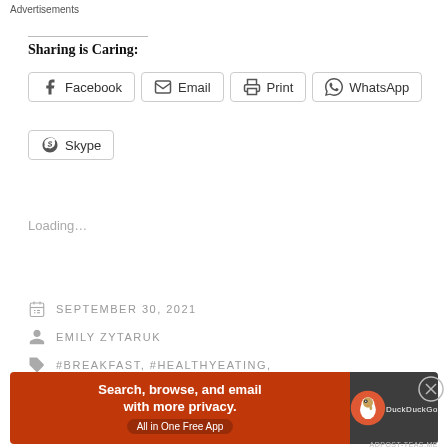Sharing is Caring:
Facebook  Email  Print  WhatsApp  Skype
Loading...
SEPTEMBER 30, 2021
EMILY ZYTARUK
#BREAKFAST, #HEALTHYEATING,
Advertisements
[Figure (screenshot): DuckDuckGo advertisement banner: orange background on left with text 'Search, browse, and email with more privacy. All in One Free App', dark background on right with DuckDuckGo logo]